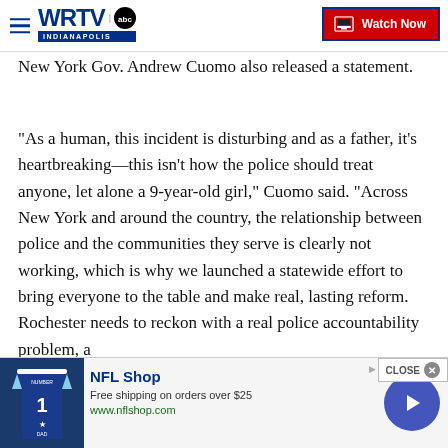WRTV Indianapolis | Watch Now
New York Gov. Andrew Cuomo also released a statement.
"As a human, this incident is disturbing and as a father, it's heartbreaking—this isn't how the police should treat anyone, let alone a 9-year-old girl," Cuomo said. "Across New York and around the country, the relationship between police and the communities they serve is clearly not working, which is why we launched a statewide effort to bring everyone to the table and make real, lasting reform. Rochester needs to reckon with a real police accountability problem, a
[Figure (screenshot): NFL Shop advertisement banner at bottom of page showing a Dallas Cowboys jersey, NFL Shop logo, text 'Free shipping on orders over $25', 'www.nflshop.com', a close button, and a navigation arrow button]